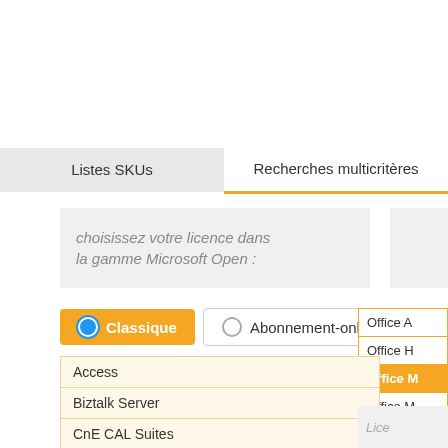Listes SKUs
Recherches multicritères
choisissez votre licence dans la gamme Microsoft Open :
Classique
Abonnement-online
Access
Biztalk Server
CnE CAL Suites
Developer Tools
Dynamics
Excel
Exchange Server and CAL
Office A
Office H
Office M
Office M
Office P
Office S
Lice